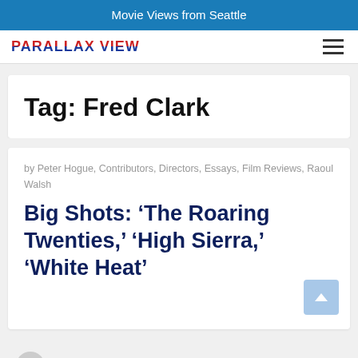Movie Views from Seattle
PARALLAX VIEW
Tag: Fred Clark
by Peter Hogue, Contributors, Directors, Essays, Film Reviews, Raoul Walsh
Big Shots: ‘The Roaring Twenties,’ ‘High Sierra,’ ‘White Heat’